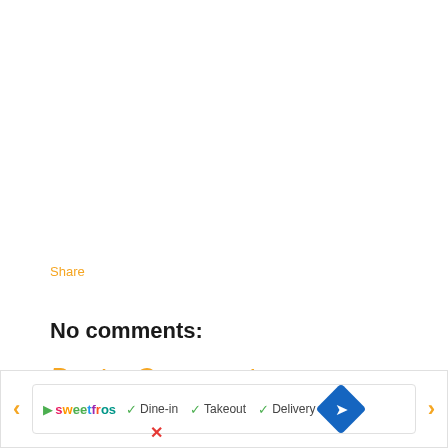Share
No comments:
Post a Comment
[Figure (screenshot): Advertisement banner showing SweetFros restaurant listing with Dine-in, Takeout, and Delivery checkmarks, navigation arrows, and a blue map/directions diamond icon]